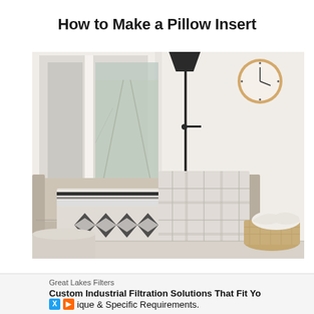How to Make a Pillow Insert
[Figure (photo): A bright minimalist living room scene with a light gray sofa holding two decorative pillows — one with a bold black and white geometric/Aztec pattern and one with a plaid pattern. A black floor lamp and a round wooden wall clock are visible in the background, along with a wicker basket with a white blanket near the right side.]
Great Lakes Filters
Custom Industrial Filtration Solutions That Fit Yo ique & Specific Requirements.